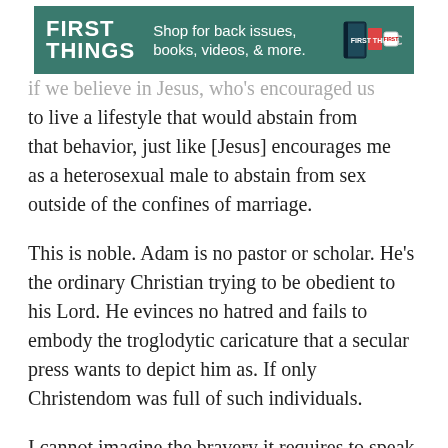[Figure (illustration): First Things banner advertisement: green background with 'FIRST THINGS' logo in white bold text on left, 'Shop for back issues, books, videos, & more.' text in white, and icons of books, a mug, and a book on the right.]
... if we believe in Jesus, who's encouraged us to live a lifestyle that would abstain from that behavior, just like [Jesus] encourages me as a heterosexual male to abstain from sex outside of the confines of marriage.
This is noble. Adam is no pastor or scholar. He's the ordinary Christian trying to be obedient to his Lord. He evinces no hatred and fails to embody the troglodytic caricature that a secular press wants to depict him as. If only Christendom was full of such individuals.
I cannot imagine the bravery it requires to speak these words, knowing how they'll be the subject of national